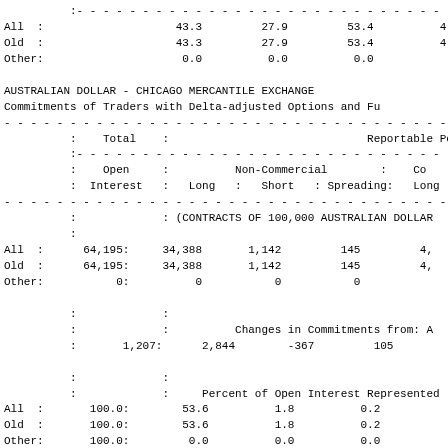| All  : | 43.3 | 27.9 | 53.4 | 4 |
| Old  : | 43.3 | 27.9 | 53.4 | 4 |
| Other: | 0.0 | 0.0 | 0.0 |  |
AUSTRALIAN DOLLAR - CHICAGO MERCANTILE EXCHANGE
Commitments of Traders with Delta-adjusted Options and Fu
| Total |  | Reportable Posit |
| --- | --- | --- |
|  | Open | Non-Commercial |  | Co |
|  | Interest | Long | Short | Spreading: | Long |
|  |  | (CONTRACTS OF 100,000 AUSTRALIAN DOLLAR |
| All  : | 64,195: | 34,388 | 1,142 | 145 | 4, |
| Old  : | 64,195: | 34,388 | 1,142 | 145 | 4, |
| Other: | 0: | 0 | 0 | 0 |  |
|  |  | Changes in Commitments from: A |
|  | 1,207: | 2,844 | -367 | 105 | -1, |
|  |  | Percent of Open Interest Represented |
| All  : | 100.0: | 53.6 | 1.8 | 0.2 |  |
| Old  : | 100.0: | 53.6 | 1.8 | 0.2 |  |
| Other: | 100.0: | 0.0 | 0.0 | 0.0 |  |
|  | # Traders : |  | Number of Traders in Each |  |
| All  : | 51: | 27 | 2 | 2 |  |
| Old  : | 51: | 27 | 2 | 2 |  |